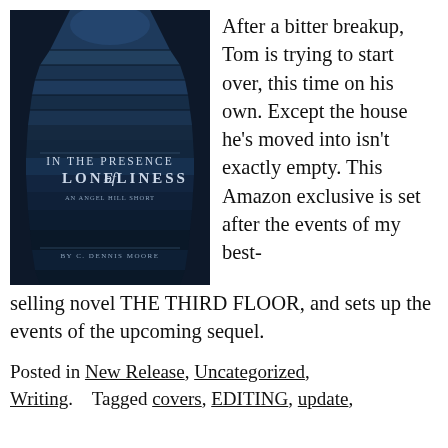[Figure (illustration): Book cover for 'In the Presence of Loneliness – An Angel Hill Short' by C. Dennis Moore, showing a dark blue-toned image of a staircase leading upward into darkness.]
After a bitter breakup, Tom is trying to start over, this time on his own. Except the house he's moved into isn't exactly empty. This Amazon exclusive is set after the events of my best-selling novel THE THIRD FLOOR, and sets up the events of the upcoming sequel.
Posted in New Release, Uncategorized, Writing.   Tagged covers, EDITING, update,